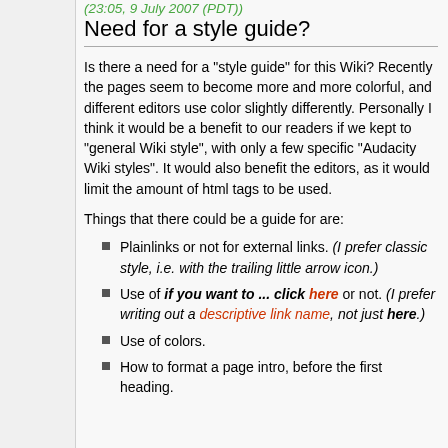(23:05, 9 July 2007 (PDT))
Need for a style guide?
Is there a need for a "style guide" for this Wiki? Recently the pages seem to become more and more colorful, and different editors use color slightly differently. Personally I think it would be a benefit to our readers if we kept to "general Wiki style", with only a few specific "Audacity Wiki styles". It would also benefit the editors, as it would limit the amount of html tags to be used.
Things that there could be a guide for are:
Plainlinks or not for external links. (I prefer classic style, i.e. with the trailing little arrow icon.)
Use of if you want to ... click here or not. (I prefer writing out a descriptive link name, not just here.)
Use of colors.
How to format a page intro, before the first heading.